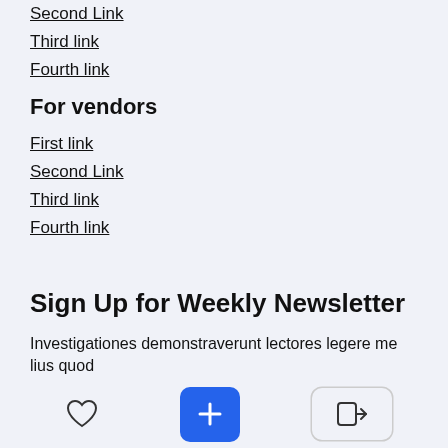Second Link
Third link
Fourth link
For vendors
First link
Second Link
Third link
Fourth link
Sign Up for Weekly Newsletter
Investigationes demonstraverunt lectores legere me lius quod